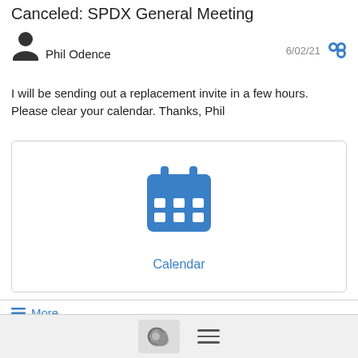Canceled: SPDX General Meeting
Phil Odence   6/02/21
I will be sending out a replacement invite in a few hours. Please clear your calendar. Thanks, Phil
[Figure (illustration): Calendar icon in blue with grid squares, labeled 'Calendar' in blue text]
≡ More
Thursday's SPDX General Meeting reminder